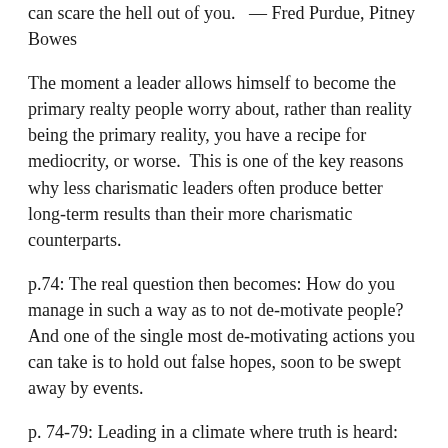can scare the hell out of you.  — Fred Purdue, Pitney Bowes
The moment a leader allows himself to become the primary realty people worry about, rather than reality being the primary reality, you have a recipe for mediocrity, or worse.  This is one of the key reasons why less charismatic leaders often produce better long-term results than their more charismatic counterparts.
p.74: The real question then becomes: How do you manage in such a way as to not de-motivate people? And one of the single most de-motivating actions you can take is to hold out false hopes, soon to be swept away by events.
p. 74-79: Leading in a climate where truth is heard:
1. Lead with questions, not answers.